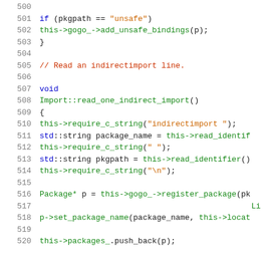[Figure (screenshot): Source code snippet in C++ showing lines 500-520 with syntax highlighting. Lines include an if statement checking pkgpath == 'unsafe', a comment about reading indirectimport line, a void function Import::read_one_indirect_import(), and its body with require_c_string, std::string declarations, and package registration calls.]